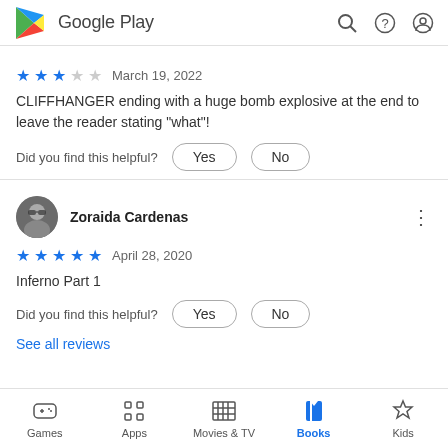[Figure (logo): Google Play logo with triangle play icon and text 'Google Play']
★★★ March 19, 2022
CLIFFHANGER ending with a huge bomb explosive at the end to leave the reader stating "what"!
Did you find this helpful?  Yes  No
[Figure (photo): Circular avatar photo of Zoraida Cardenas, a person wearing sunglasses]
Zoraida Cardenas
★★★★★ April 28, 2020
Inferno Part 1
Did you find this helpful?  Yes  No
See all reviews
Games  Apps  Movies & TV  Books  Kids